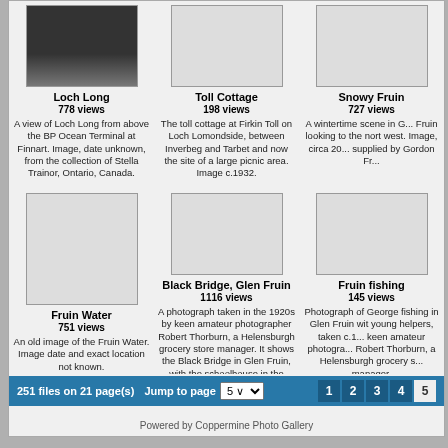[Figure (photo): Thumbnail photo of Loch Long (partially visible, dark image)]
Loch Long
778 views
A view of Loch Long from above the BP Ocean Terminal at Finnart. Image, date unknown, from the collection of Stella Trainor, Ontario, Canada.
[Figure (photo): Blank thumbnail for Toll Cottage]
Toll Cottage
198 views
The toll cottage at Firkin Toll on Loch Lomondside, between Inverbeg and Tarbet and now the site of a large picnic area. Image c.1932.
[Figure (photo): Blank thumbnail for Snowy Fruin]
Snowy Fruin
727 views
A wintertime scene in Glen Fruin looking to the north west. Image, circa 20... supplied by Gordon Fr...
[Figure (photo): Blank tall thumbnail for Fruin Water]
Fruin Water
751 views
An old image of the Fruin Water. Image date and exact location not known.
[Figure (photo): Blank thumbnail for Black Bridge, Glen Fruin]
Black Bridge, Glen Fruin
1116 views
A photograph taken in the 1920s by keen amateur photographer Robert Thorburn, a Helensburgh grocery store manager. It shows the Black Bridge in Glen Fruin, with the schoolhouse in the background.
[Figure (photo): Blank thumbnail for Fruin fishing]
Fruin fishing
145 views
Photograph of George fishing in Glen Fruin with young helpers, taken c.1... keen amateur photogra... Robert Thorburn, a Helensburgh grocery s... manager.
251 files on 21 page(s)  Jump to page 5  1 2 3 4 5
Powered by Coppermine Photo Gallery